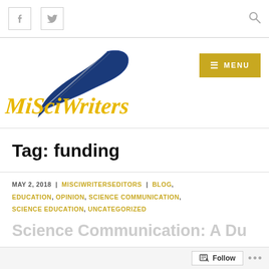Facebook icon | Twitter icon | Search icon
[Figure (logo): MiSciWriters logo: a blue feather quill with yellow cursive text 'MiSciWriters']
Tag: funding
MAY 2, 2018 | MISCIWRITERSEDITORS | BLOG, EDUCATION, OPINION, SCIENCE COMMUNICATION, SCIENCE EDUCATION, UNCATEGORIZED
Science Communication: A Du...